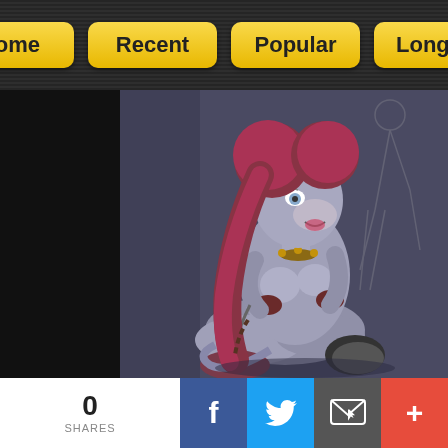Home | Recent | Popular | Longest
[Figure (illustration): Animated furry character illustration: a female anthropomorphic creature with red/maroon hair in two buns, grey fur body, sitting on the ground in a dark purple/grey background. She appears to have cat-like features and is wearing minimal accessories including wrist bands. A faint sketch of another figure is visible in the background on the right.]
0 SHARES | Facebook | Twitter | Email | +